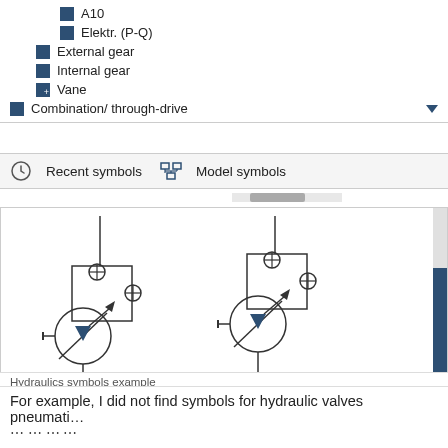A10
Elektr. (P-Q)
External gear
Internal gear
Vane
Combination/ through-drive
Recent symbols   Model symbols
[Figure (schematic): Two hydraulic pump symbols side by side. Left: pump, open circuit, axial piston, pressure, flow,... Right: pump, open circuit, axial piston, variable, pressu...]
Hydraulics symbols example
For example, I did not find symbols for hydraulic valves pneumati...